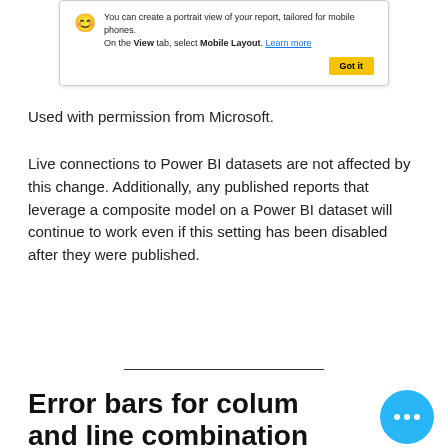[Figure (screenshot): A tooltip/notification box showing a message about mobile layout with a Got it button]
Used with permission from Microsoft.
Live connections to Power BI datasets are not affected by this change. Additionally, any published reports that leverage a composite model on a Power BI dataset will continue to work even if this setting has been disabled after they were published.
Error bars for column and line combination